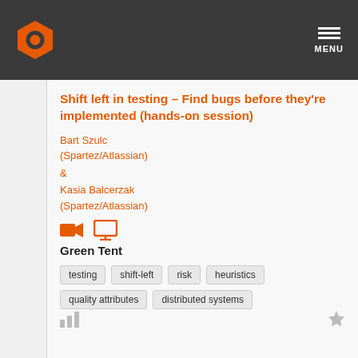MENU
Shift left in testing – Find bugs before they're implemented (hands-on session)
Bart Szulc (Spartez/Atlassian) & Kasia Balcerzak (Spartez/Atlassian)
Green Tent
testing
shift-left
risk
heuristics
quality attributes
distributed systems
17:15  Mini break